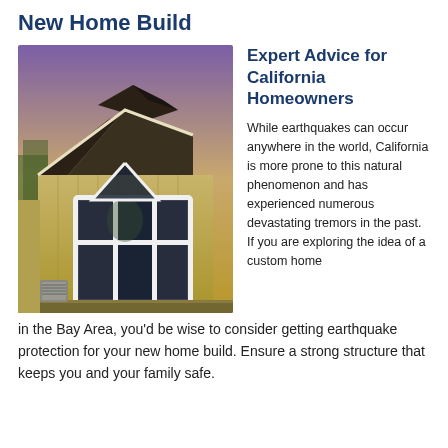New Home Build
[Figure (photo): Exterior photo of a custom home with cream/tan siding, a distinctive angled roofline, large white-framed window, and an outdoor AC unit, photographed at dusk with a purple sky.]
Expert Advice for California Homeowners
While earthquakes can occur anywhere in the world, California is more prone to this natural phenomenon and has experienced numerous devastating tremors in the past. If you are exploring the idea of a custom home in the Bay Area, you'd be wise to consider getting earthquake protection for your new home build. Ensure a strong structure that keeps you and your family safe.